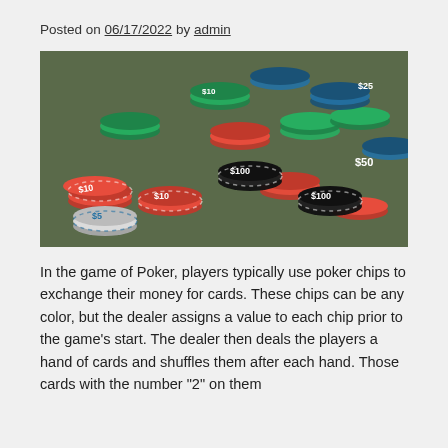Posted on 06/17/2022 by admin
[Figure (photo): A pile of colorful casino poker chips in red, black, green, blue, and white, with denominations $5, $10, $25, $50, $100 visible on them.]
In the game of Poker, players typically use poker chips to exchange their money for cards. These chips can be any color, but the dealer assigns a value to each chip prior to the game's start. The dealer then deals the players a hand of cards and shuffles them after each hand. Those cards with the number "2" on them